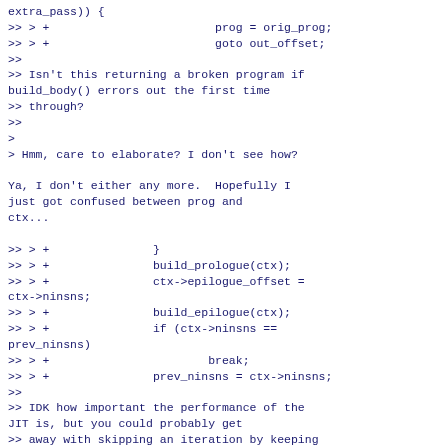extra_pass)) {
>> > +                        prog = orig_prog;
>> > +                        goto out_offset;
>>
>> Isn't this returning a broken program if build_body() errors out the first time
>> through?
>>
>
> Hmm, care to elaborate? I don't see how?

Ya, I don't either any more.  Hopefully I just got confused between prog and ctx...

>> > +               }
>> > +               build_prologue(ctx);
>> > +               ctx->epilogue_offset =
ctx->ninsns;
>> > +               build_epilogue(ctx);
>> > +               if (ctx->ninsns ==
prev_ninsns)
>> > +                       break;
>> > +               prev_ninsns = ctx->ninsns;
>>
>> IDK how important the performance of the JIT is, but you could probably get
>> away with skipping an iteration by keeping track of some simple metric that
>> determines if it would be possible to